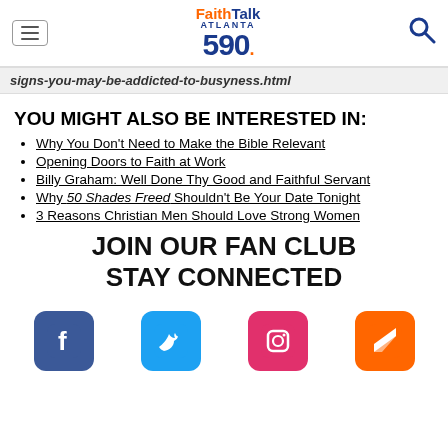FaithTalk Atlanta 590
signs-you-may-be-addicted-to-busyness.html
YOU MIGHT ALSO BE INTERESTED IN:
Why You Don't Need to Make the Bible Relevant
Opening Doors to Faith at Work
Billy Graham: Well Done Thy Good and Faithful Servant
Why 50 Shades Freed Shouldn't Be Your Date Tonight
3 Reasons Christian Men Should Love Strong Women
JOIN OUR FAN CLUB
STAY CONNECTED
[Figure (infographic): Social media icons row: Facebook (blue), Twitter (teal), Instagram (pink/red), and one more (orange)]